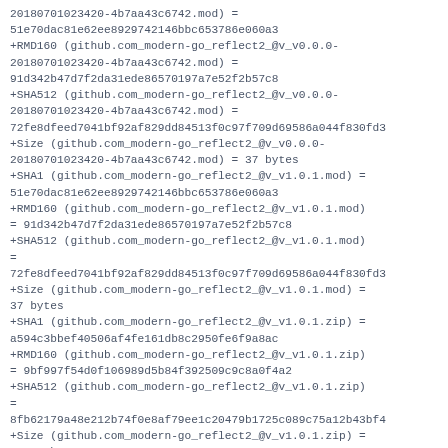20180701023420-4b7aa43c6742.mod) =
51e70dac81e62ee8929742146bbc653786e060a3
+RMD160 (github.com_modern-go_reflect2_@v_v0.0.0-
20180701023420-4b7aa43c6742.mod) =
91d342b47d7f2da31ede86570197a7e52f2b57c8
+SHA512 (github.com_modern-go_reflect2_@v_v0.0.0-
20180701023420-4b7aa43c6742.mod) =
72fe8dfeed7041bf92af829dd84513f0c97f709d69586a044f830fd3
+Size (github.com_modern-go_reflect2_@v_v0.0.0-
20180701023420-4b7aa43c6742.mod) = 37 bytes
+SHA1 (github.com_modern-go_reflect2_@v_v1.0.1.mod) =
51e70dac81e62ee8929742146bbc653786e060a3
+RMD160 (github.com_modern-go_reflect2_@v_v1.0.1.mod)
= 91d342b47d7f2da31ede86570197a7e52f2b57c8
+SHA512 (github.com_modern-go_reflect2_@v_v1.0.1.mod)
=
72fe8dfeed7041bf92af829dd84513f0c97f709d69586a044f830fd3
+Size (github.com_modern-go_reflect2_@v_v1.0.1.mod) =
37 bytes
+SHA1 (github.com_modern-go_reflect2_@v_v1.0.1.zip) =
a594c3bbef40506af4fe161db8c2950fe6f9a8ac
+RMD160 (github.com_modern-go_reflect2_@v_v1.0.1.zip)
= 9bf997f54d0f106989d5b84f392509c9c8a0f4a2
+SHA512 (github.com_modern-go_reflect2_@v_v1.0.1.zip)
=
8fb62179a48e212b74f0e8af79ee1c20479b1725c089c75a12b43bf4
+Size (github.com_modern-go_reflect2_@v_v1.0.1.zip) =
25694 bytes
+SHA1 (github.com_muesli_reflow_@v_v0.2.0.mod) =
8fcb4e91609af61ef68d0d910bb663ee33b5d590